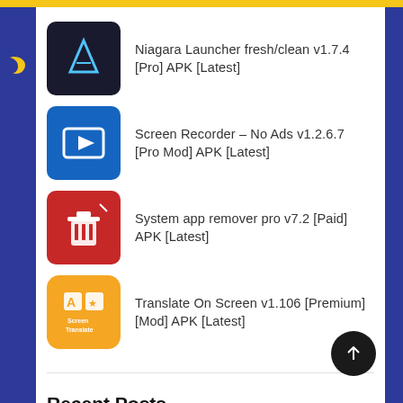Niagara Launcher fresh/clean v1.7.4 [Pro] APK [Latest]
Screen Recorder – No Ads v1.2.6.7 [Pro Mod] APK [Latest]
System app remover pro v7.2 [Paid] APK [Latest]
Translate On Screen v1.106 [Premium] [Mod] APK [Latest]
Recent Posts
Webcam+ v2.0.17 [Premium] APK [Latest]